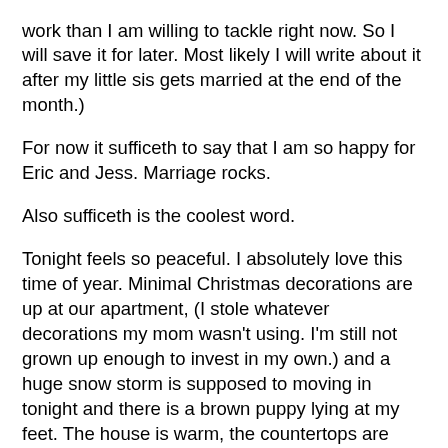work than I am willing to tackle right now.  So I will save it for later. Most likely I will write about it after my little sis gets married at the end of the month.)
For now it sufficeth to say that I am so happy for Eric and Jess.  Marriage rocks.
Also sufficeth is the coolest word.
Tonight feels so peaceful.  I absolutely love this time of year.  Minimal Christmas decorations are up at our apartment, (I stole whatever decorations my mom wasn't using.  I'm still not grown up enough to invest in my own.) and a huge snow storm is supposed to moving in tonight and there is a brown puppy lying at my feet.  The house is warm, the countertops are clean, there is a half done puzzle on our kitchen table.  I am filled with an overwhelming satisfaction and contentment in my life.  I spend so much time worrying about little things and it feels good to just try to enjoy this moment right here.  There is so much that Greg and I don't have figured out yet, so many question marks in our future but right this second all I need is to just sit in this apartment on a December night and feel peace...